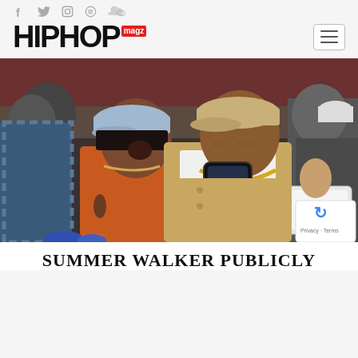HIPHOP magz — social icons header with navigation
[Figure (photo): Two people sitting courtside at a basketball game. A woman in an orange top and light blue baseball cap leans toward a man in a tan jacket and tan cap, who is holding up a phone. The man wears gold chains and a large medallion. Other audience members are visible in the background.]
SUMMER WALKER PUBLICLY